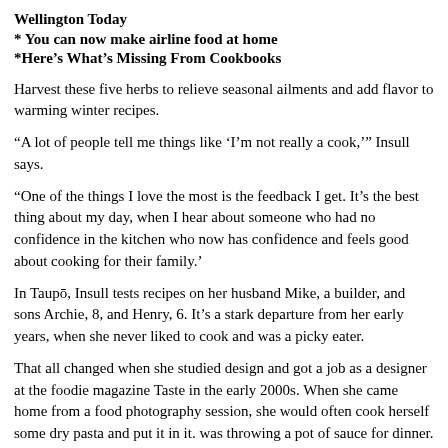Wellington Today
* You can now make airline food at home
*Here's What's Missing From Cookbooks
Harvest these five herbs to relieve seasonal ailments and add flavor to warming winter recipes.
“A lot of people tell me things like ‘I’m not really a cook,’” Insull says.
“One of the things I love the most is the feedback I get. It’s the best thing about my day, when I hear about someone who had no confidence in the kitchen who now has confidence and feels good about cooking for their family.’
In Taupō, Insull tests recipes on her husband Mike, a builder, and sons Archie, 8, and Henry, 6. It’s a stark departure from her early years, when she never liked to cook and was a picky eater.
That all changed when she studied design and got a job as a designer at the foodie magazine Taste in the early 2000s. When she came home from a food photography session, she would often cook herself some dry pasta and put it in it. was throwing a pot of sauce for dinner. She challenged herself one day: try to make a salmon pasta dish that she was photographing.